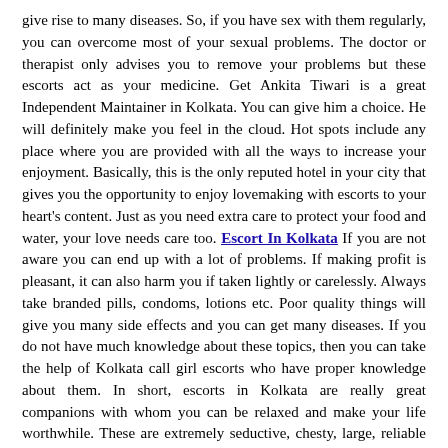give rise to many diseases. So, if you have sex with them regularly, you can overcome most of your sexual problems. The doctor or therapist only advises you to remove your problems but these escorts act as your medicine. Get Ankita Tiwari is a great Independent Maintainer in Kolkata. You can give him a choice. He will definitely make you feel in the cloud. Hot spots include any place where you are provided with all the ways to increase your enjoyment. Basically, this is the only reputed hotel in your city that gives you the opportunity to enjoy lovemaking with escorts to your heart's content. Just as you need extra care to protect your food and water, your love needs care too. Escort In Kolkata If you are not aware you can end up with a lot of problems. If making profit is pleasant, it can also harm you if taken lightly or carelessly. Always take branded pills, condoms, lotions etc. Poor quality things will give you many side effects and you can get many diseases. If you do not have much knowledge about these topics, then you can take the help of Kolkata call girl escorts who have proper knowledge about them. In short, escorts in Kolkata are really great companions with whom you can be relaxed and make your life worthwhile. These are extremely seductive, chesty, large, reliable and intoxicating.
Service only in Kolkata Not Outside Kolkata No time pass Calls Professional Escorts Agency